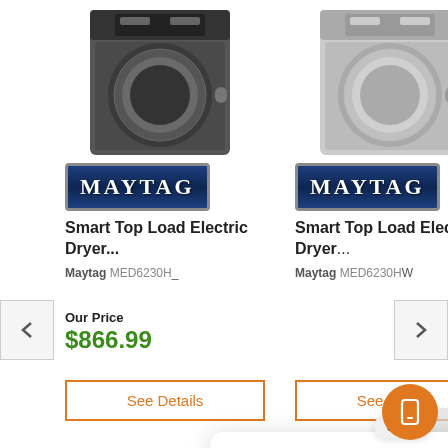[Figure (screenshot): Maytag Smart Top Load Electric Dryer product listing screenshot with chat popup overlay. Left product shows dark/charcoal dryer with Maytag logo. Right product shows white/light dryer with Maytag logo. Both labeled 'Smart Top Load Electric Dryer...' Left shows model MED6230H_, price $866.99. Right shows model MED6230H_. Both have 'See Details' buttons. A chat popup reads 'Hi there, if you have questions or need help, text us here.' with a power icon. Close button and mobile chat button visible.]